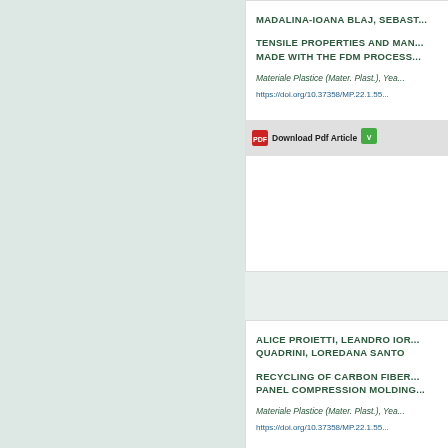MADALINA-IOANA BLAJ, SEBAST...
TENSILE PROPERTIES AND MAN... MADE WITH THE FDM PROCESS...
Materiale Plastice (Mater. Plast.), Yea...
https://doi.org/10.37358/MP.22.1.55...
Download Pdf Article
ALICE PROIETTI, LEANDRO IOR... QUADRINI, LOREDANA SANTO
RECYCLING OF CARBON FIBER... PANEL COMPRESSION MOLDING...
Materiale Plastice (Mater. Plast.), Yea...
https://doi.org/10.37358/MP.22.1.55...